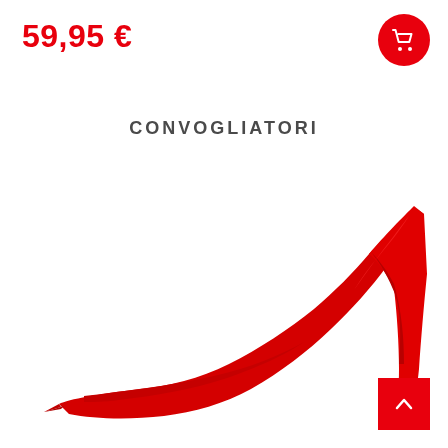59,95 €
[Figure (illustration): Red shopping cart icon on red circular button in top right corner]
CONVOGLIATORI
[Figure (photo): Red motorcycle fairing convogliatori part — a sleek aerodynamic radiator scoop/side panel in glossy red plastic, photographed on white background]
[Figure (illustration): White upward chevron arrow on red square button in bottom right corner]